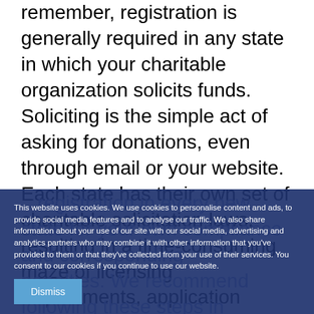remember, registration is generally required in any state in which your charitable organization solicits funds. Soliciting is the simple act of asking for donations, even through email or your website. Each state has their own set of charitable solicitation laws, resulting in a time-consuming maze of licensing requirements, application forms, renewal due dates, fundraising disclosures, and more. Once initial registration is completed, charities must renew their licenses, thus creating an ongoing process of management.
This website uses cookies. We use cookies to personalise content and ads, to provide social media features and to analyse our traffic. We also share information about your use of our site with our social media, advertising and analytics partners who may combine it with other information that you've provided to them or that they've collected from your use of their services. You consent to our cookies if you continue to use our website.